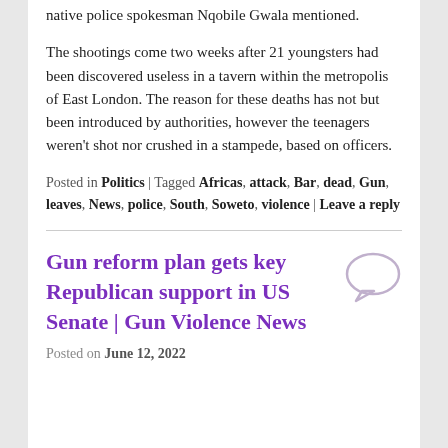native police spokesman Nqobile Gwala mentioned.
The shootings come two weeks after 21 youngsters had been discovered useless in a tavern within the metropolis of East London. The reason for these deaths has not but been introduced by authorities, however the teenagers weren't shot nor crushed in a stampede, based on officers.
Posted in Politics | Tagged Africas, attack, Bar, dead, Gun, leaves, News, police, South, Soweto, violence | Leave a reply
Gun reform plan gets key Republican support in US Senate | Gun Violence News
Posted on June 12, 2022